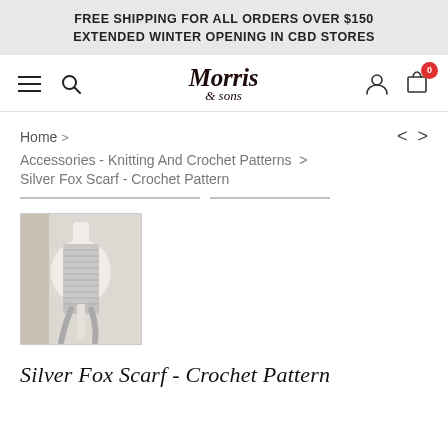FREE SHIPPING FOR ALL ORDERS OVER $150
EXTENDED WINTER OPENING IN CBD STORES
[Figure (logo): Morris & Sons logo in decorative serif/script typeface with hamburger menu, search icon, user icon, and cart icon with badge '0']
Home > Accessories - Knitting And Crochet Patterns > Silver Fox Scarf - Crochet Pattern
[Figure (photo): Thumbnail photo of a silver/grey crochet scarf on a white mannequin bust, in a beige/neutral room setting]
Silver Fox Scarf - Crochet Pattern